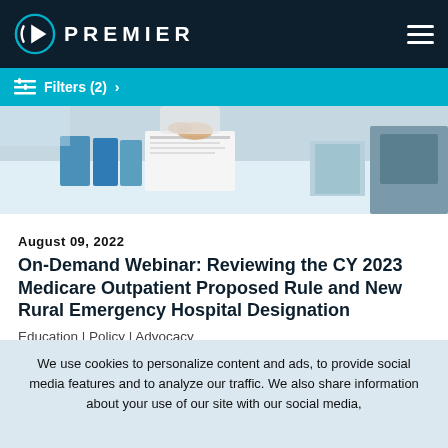PREMIER
Filters (2) >
[Figure (photo): Person in white coat reviewing documents at a desk, binder and folders visible]
August 09, 2022
On-Demand Webinar: Reviewing the CY 2023 Medicare Outpatient Proposed Rule and New Rural Emergency Hospital Designation
Education | Policy | Advocacy
The Centers for Medicare & Medicaid Services (CMS) recently released the CY 2023 Outpatient Prospective Payment System
We use cookies to personalize content and ads, to provide social media features and to analyze our traffic. We also share information about your use of our site with our social media,